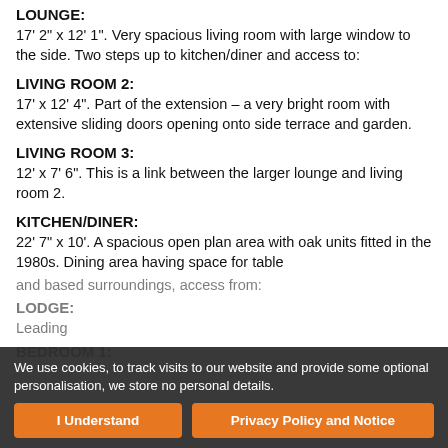LOUNGE:
17' 2" x 12' 1". Very spacious living room with large window to the side. Two steps up to kitchen/diner and access to:
LIVING ROOM 2:
17' x 12' 4". Part of the extension - a very bright room with extensive sliding doors opening onto side terrace and garden.
LIVING ROOM 3:
12' x 7' 6". This is a link between the larger lounge and living room 2.
KITCHEN/DINER:
22' 7" x 10'. A spacious open plan area with oak units fitted in the 1980s. Dining area having space for table
LODGE:
Leading
BEDROOM 1:
We use cookies, to track visits to our website and provide some optional personalisation, we store no personal details.